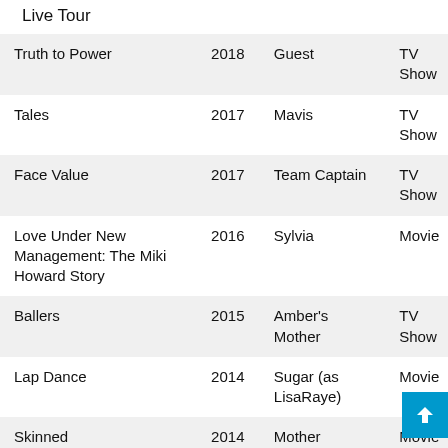Live Tour
| Title | Year | Role | Type |
| --- | --- | --- | --- |
| Truth to Power | 2018 | Guest | TV Show |
| Tales | 2017 | Mavis | TV Show |
| Face Value | 2017 | Team Captain | TV Show |
| Love Under New Management: The Miki Howard Story | 2016 | Sylvia | Movie |
| Ballers | 2015 | Amber's Mother | TV Show |
| Lap Dance | 2014 | Sugar (as LisaRaye) | Movie |
| Skinned | 2014 | Mother | Movie |
| The Promise | 2013 | Ms. Fuller (as ... | Short |